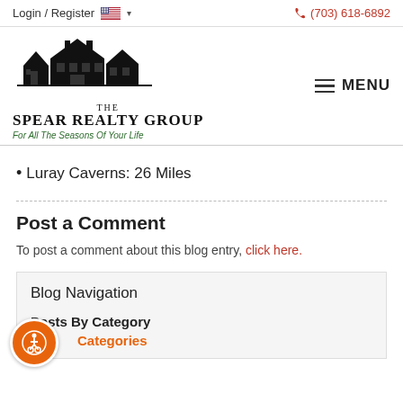Login / Register  (703) 618-6892
[Figure (logo): The Spear Realty Group logo with house silhouette illustration and tagline 'For All The Seasons Of Your Life']
Luray Caverns: 26 Miles
Post a Comment
To post a comment about this blog entry, click here.
Blog Navigation
Posts By Category
Categories